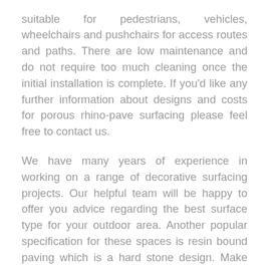suitable for pedestrians, vehicles, wheelchairs and pushchairs for access routes and paths. There are low maintenance and do not require too much cleaning once the initial installation is complete. If you'd like any further information about designs and costs for porous rhino-pave surfacing please feel free to contact us.

We have many years of experience in working on a range of decorative surfacing projects. Our helpful team will be happy to offer you advice regarding the best surface type for your outdoor area. Another popular specification for these spaces is resin bound paving which is a hard stone design. Make sure you send us over your details, a post code, area size and a brief description of the work that you need. Therefore we can offer you an accura...